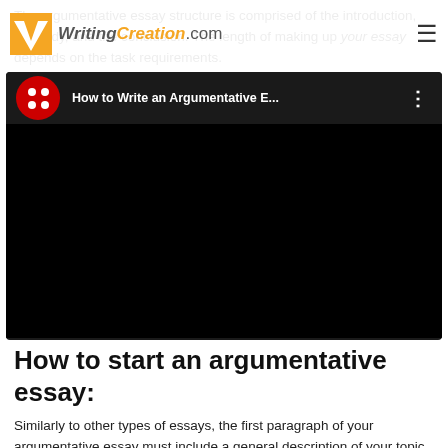The argumentative essay structure is comprised of the introduction, the body, and the conclusion. The length of making up your essay depends on the task requirements.
WritingCreation.com
[Figure (screenshot): Embedded YouTube video player showing 'How to Write an Argumentative E...' with red circle icon containing four white dots and a three-dot menu icon, dark background video player area]
How to start an argumentative essay:
Similarly to other types of essays, the first paragraph of your argumentative essay must include a general description of your topic, some background information, and a thesis